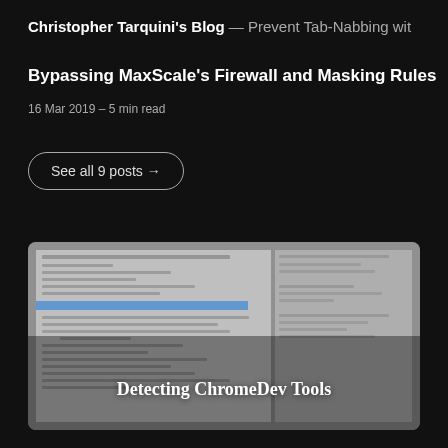Christopher Tarquini's Blog — Prevent Tab-Nabbing wit
Bypassing MaxScale's Firewall and Masking Rules
16 Mar 2019 – 5 min read
See all 9 posts →
[Figure (screenshot): A screenshot of a webpage or developer tools interface, with the text 'Detecting ChromeDev Tools' overlaid in the center of the card.]